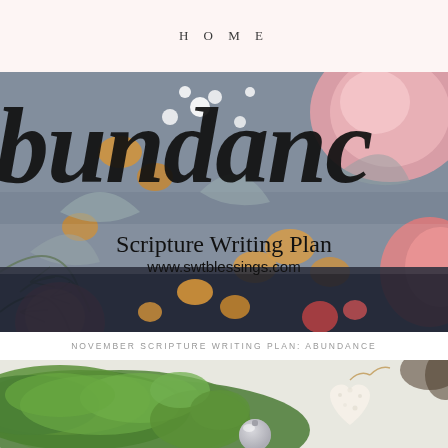HOME
[Figure (photo): Floral dark background image with handwritten script text 'abundance' overlaid in large black cursive letters, and text 'Scripture Writing Plan' and 'www.swtblessings.com' in the lower portion]
NOVEMBER SCRIPTURE WRITING PLAN: ABUNDANCE
[Figure (photo): Bottom photo showing green juniper branches, a silver ornament, and a white fuzzy heart ornament on a white surface]